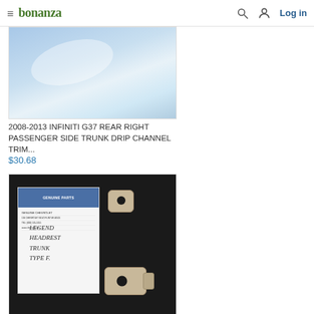bonanza  Log in
[Figure (photo): Product photo of Infiniti G37 trunk drip channel trim piece, blue/silver car part close-up]
2008-2013 INFINITI G37 REAR RIGHT PASSENGER SIDE TRUNK DRIP CHANNEL TRIM...
$30.68
[Figure (photo): Photo of two beige/tan car interior clips/seatbelt guide pieces on a dark surface next to a GM Genuine Parts paper with handwriting]